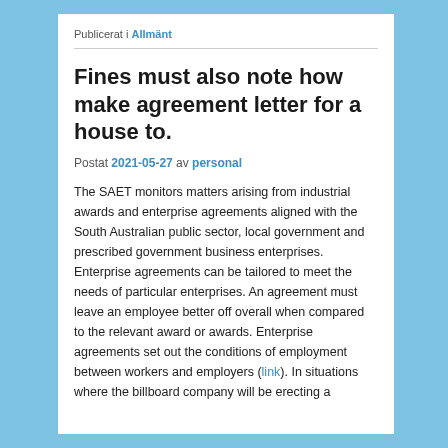Publicerat i Allmänt
Fines must also note how make agreement letter for a house to.
Postat 2021-05-27 av personal
The SAET monitors matters arising from industrial awards and enterprise agreements aligned with the South Australian public sector, local government and prescribed government business enterprises. Enterprise agreements can be tailored to meet the needs of particular enterprises. An agreement must leave an employee better off overall when compared to the relevant award or awards. Enterprise agreements set out the conditions of employment between workers and employers (link). In situations where the billboard company will be erecting a